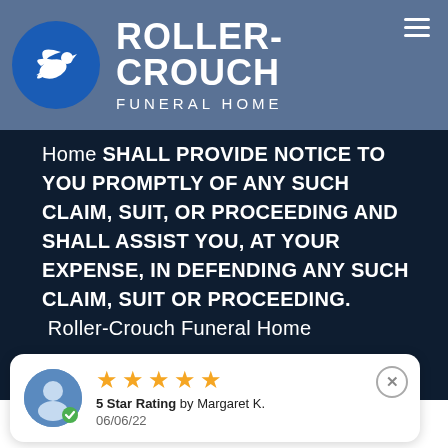[Figure (logo): Roller-Crouch Funeral Home logo: blue circle with white dove, company name in white bold uppercase text, and 'FUNERAL HOME' subtitle in white uppercase letters on a steel blue header background.]
Home SHALL PROVIDE NOTICE TO YOU PROMPTLY OF ANY SUCH CLAIM, SUIT, OR PROCEEDING AND SHALL ASSIST YOU, AT YOUR EXPENSE, IN DEFENDING ANY SUCH CLAIM, SUIT OR PROCEEDING. Roller-Crouch Funeral Home
[Figure (infographic): Review popup card with user avatar icon with green checkmark, five gold stars, '5 Star Rating by Margaret K.' and date '06/06/22', with a close button (X circle) in top right.]